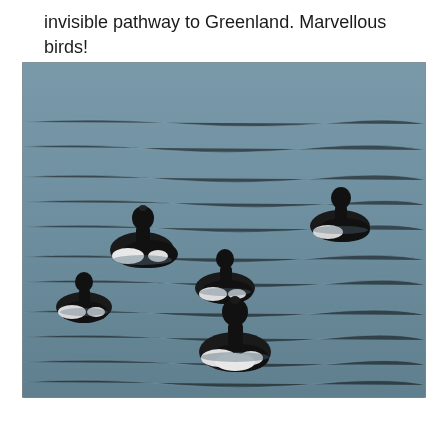invisible pathway to Greenland. Marvellous birds!
[Figure (photo): Six black-and-white ducks (likely Brant geese or similar sea ducks) swimming on grey-blue choppy water, viewed from behind, showing their distinctive black heads and white flanks.]